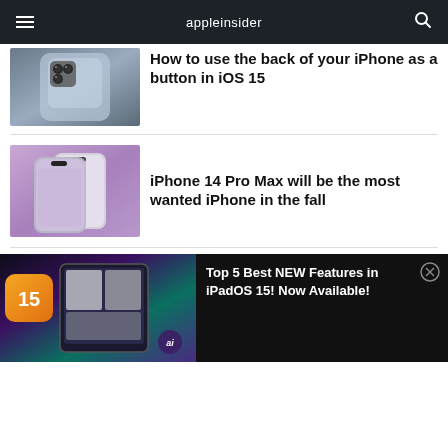appleinsider
[Figure (photo): Back of blue iPhone showing triple camera system]
How to use the back of your iPhone as a button in iOS 15
[Figure (photo): Two iPhone 14 Pro Max phones in purple/silver with Dynamic Island notch]
iPhone 14 Pro Max will be the most wanted iPhone in the fall
[Figure (photo): iPad with multitasking shown, Apple Watch, iOS 15 logo, ai badge, colorful background]
Top 5 Best NEW Features in iPadOS 15! Now Available!